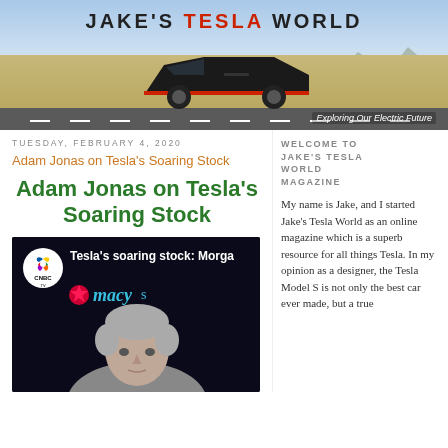[Figure (photo): Jake's Tesla World blog header banner with Cybertruck on desert road. Title reads JAKE'S TESLA WORLD with TESLA in red. Tagline: Exploring Our Electric Future.]
TUESDAY, FEBRUARY 4, 2020
Adam Jonas on Tesla's Soaring Stock
Adam Jonas on Tesla's Soaring Stock
[Figure (screenshot): CNBC TV video thumbnail showing Tesla's soaring stock: Morgan Stanley segment, with Macy's star logo visible and a gray-haired man in the lower portion.]
WELCOME TO JAKE'S TESLA WORLD MAGAZINE
My name is Jake, and I started Jake's Tesla World as an online magazine which is a superb resource for all things Tesla. In my opinion as a designer, the Tesla Model S is not only the best car ever made, but a true